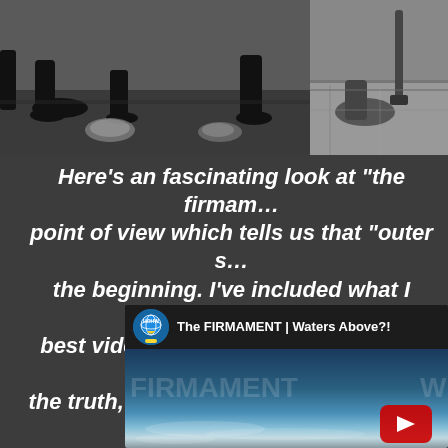[Figure (photo): Black and white photo showing people's feet and legs on the ground, with what appear to be rocks or objects on the floor]
Here's an fascinating look at “the firmament” point of view which tells us that “outer s…” the beginning. I’ve included what I believe… best videos out there on this subject be… the truth, it’s really hard to fathom how d… has kept us in the dark for so…
[Figure (screenshot): YouTube video embed showing 'The FIRMAMENT | Waters Above?!' with HOHW channel icon and thumbnail showing water/ocean imagery with play button]